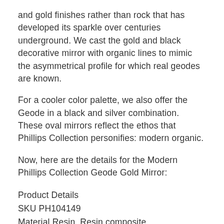and gold finishes rather than rock that has developed its sparkle over centuries underground. We cast the gold and black decorative mirror with organic lines to mimic the asymmetrical profile for which real geodes are known.
For a cooler color palette, we also offer the Geode in a black and silver combination. These oval mirrors reflect the ethos that Phillips Collection personifies: modern organic.
Now, here are the details for the Modern Phillips Collection Geode Gold Mirror:
Product Details
SKU PH104149
Material Resin, Resin composite
Size 29x5x36"H / (33x9x40"H packed)